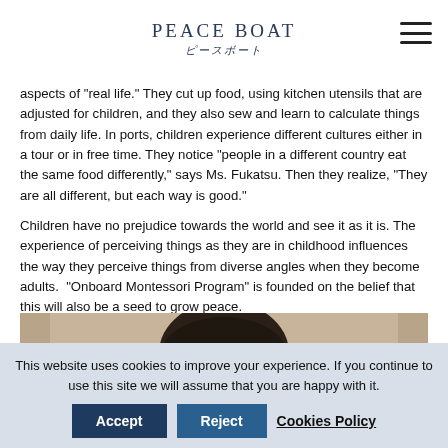PEACE BOAT
aspects of "real life." They cut up food, using kitchen utensils that are adjusted for children, and they also sew and learn to calculate things from daily life. In ports, children experience different cultures either in a tour or in free time. They notice "people in a different country eat the same food differently," says Ms. Fukatsu. Then they realize, "They are all different, but each way is good."
Children have no prejudice towards the world and see it as it is. The experience of perceiving things as they are in childhood influences the way they perceive things from diverse angles when they become adults.  "Onboard Montessori Program" is founded on the belief that this will also be a seed to grow peace.
[Figure (photo): Close-up photo of a person's face, slightly blurred, with a beige/tan background]
This website uses cookies to improve your experience. If you continue to use this site we will assume that you are happy with it.